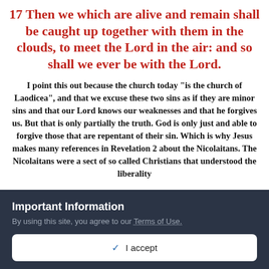17 Then we which are alive and remain shall be caught up together with them in the clouds, to meet the Lord in the air: and so shall we ever be with the Lord.
I point this out because the church today "is the church of Laodicea", and that we excuse these two sins as if they are minor sins and that our Lord knows our weaknesses and that he forgives us. But that is only partially the truth. God is only just and able to forgive those that are repentant of their sin. Which is why Jesus makes many references in Revelation 2 about the Nicolaitans. The Nicolaitans were a sect of so called Christians that understood the liberality
Important Information
By using this site, you agree to our Terms of Use.
✓  I accept